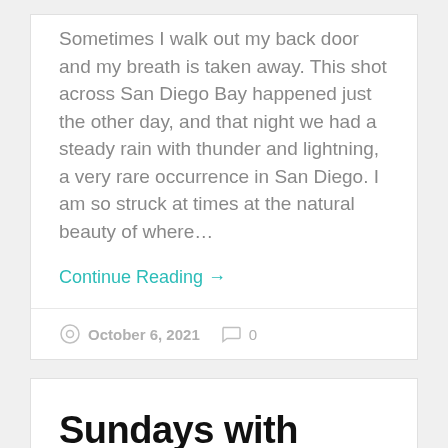Sometimes I walk out my back door and my breath is taken away. This shot across San Diego Bay happened just the other day, and that night we had a steady rain with thunder and lightning, a very rare occurrence in San Diego. I am so struck at times at the natural beauty of where…
Continue Reading →
October 6, 2021  0
Sundays with Bond … James Bond • Part 4
[Figure (photo): Two side-by-side photos showing people, likely related to James Bond article]